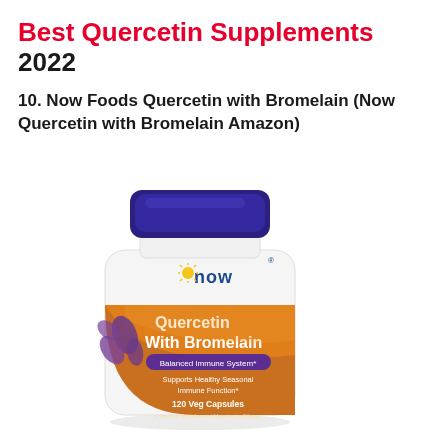Best Quercetin Supplements 2022
10. Now Foods Quercetin with Bromelain (Now Quercetin with Bromelain Amazon)
[Figure (photo): NOW Foods Quercetin with Bromelain supplement bottle — white plastic bottle with dark blue lid, orange/brown label with purple NOW logo, text reads: Quercetin With Bromelain, Balanced Immune System*, Supports Healthy Seasonal Immune Function*, 120 Veg Capsules, A Dietary Supplement, Vegetarian/Vegan]